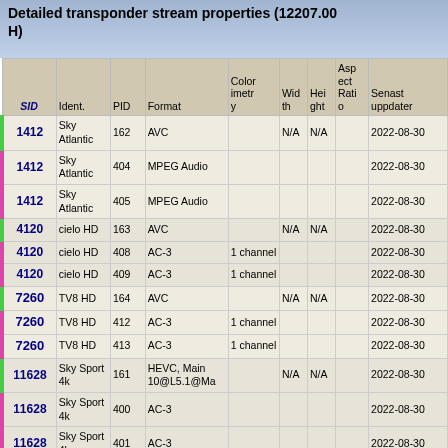Detailed transponder stream properties (12207.00 H)
| SID | Ident. | PID | Format | Colorimetry | Width | Height | Aspect Ratio | Senast uppdater |
| --- | --- | --- | --- | --- | --- | --- | --- | --- |
| 1412 | Sky Atlantic | 162 | AVC |  | N/A | N/A |  | 2022-08-30 |
| 1412 | Sky Atlantic | 404 | MPEG Audio |  |  |  |  | 2022-08-30 |
| 1412 | Sky Atlantic | 405 | MPEG Audio |  |  |  |  | 2022-08-30 |
| 4120 | cielo HD | 163 | AVC |  | N/A | N/A |  | 2022-08-30 |
| 4120 | cielo HD | 408 | AC-3 | 1 channel |  |  |  | 2022-08-30 |
| 4120 | cielo HD | 409 | AC-3 | 1 channel |  |  |  | 2022-08-30 |
| 7260 | TV8 HD | 164 | AVC |  | N/A | N/A |  | 2022-08-30 |
| 7260 | TV8 HD | 412 | AC-3 | 1 channel |  |  |  | 2022-08-30 |
| 7260 | TV8 HD | 413 | AC-3 | 1 channel |  |  |  | 2022-08-30 |
| 11628 | Sky Sport 4k | 161 | HEVC, Main 10@L5.1@Ma |  | N/A | N/A |  | 2022-08-30 |
| 11628 | Sky Sport 4k | 400 | AC-3 |  |  |  |  | 2022-08-30 |
| 11628 | Sky Sport 4k | 401 | AC-3 |  |  |  |  | 2022-08-30 |
📝 Dina kommentarer / Uppdateringar